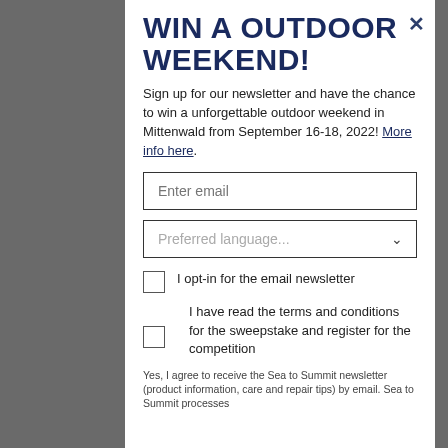WIN A OUTDOOR WEEKEND!
Sign up for our newsletter and have the chance to win a unforgettable outdoor weekend in Mittenwald from September 16-18, 2022! More info here.
Enter email
Preferred language...
I opt-in for the email newsletter
I have read the terms and conditions for the sweepstake and register for the competition
Yes, I agree to receive the Sea to Summit newsletter (product information, care and repair tips) by email. Sea to Summit processes